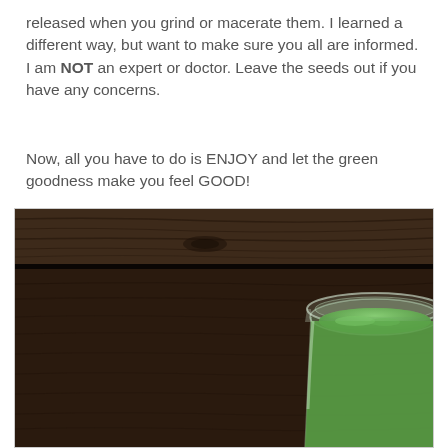released when you grind or macerate them. I learned a different way, but want to make sure you all are informed. I am NOT an expert or doctor. Leave the seeds out if you have any concerns.
Now, all you have to do is ENJOY and let the green goodness make you feel GOOD!
[Figure (photo): A glass mason jar containing a bright green smoothie/juice, placed on a dark worn wooden surface.]